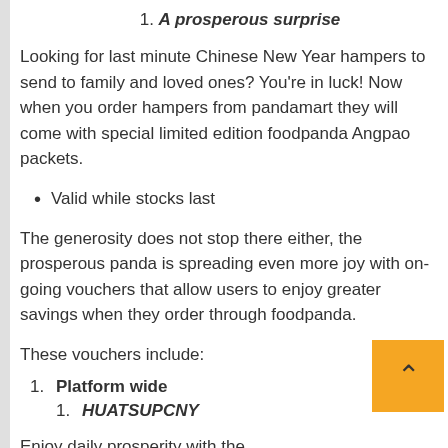1. A prosperous surprise
Looking for last minute Chinese New Year hampers to send to family and loved ones? You’re in luck! Now when you order hampers from pandamart they will come with special limited edition foodpanda Angpao packets.
Valid while stocks last
The generosity does not stop there either, the prosperous panda is spreading even more joy with on-going vouchers that allow users to enjoy greater savings when they order through foodpanda.
These vouchers include:
1. Platform wide
1. HUATSUPCNY
Enjoy daily prosperity with the HUATSUPCNY voucher